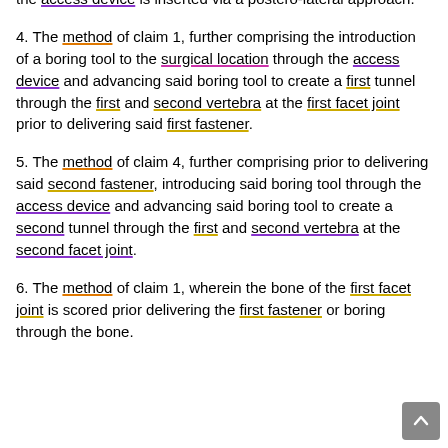the access device is inserted via a postero-lateral approach.
4. The method of claim 1, further comprising the introduction of a boring tool to the surgical location through the access device and advancing said boring tool to create a first tunnel through the first and second vertebra at the first facet joint prior to delivering said first fastener.
5. The method of claim 4, further comprising prior to delivering said second fastener, introducing said boring tool through the access device and advancing said boring tool to create a second tunnel through the first and second vertebra at the second facet joint.
6. The method of claim 1, wherein the bone of the first facet joint is scored prior delivering the first fastener or boring through the bone.